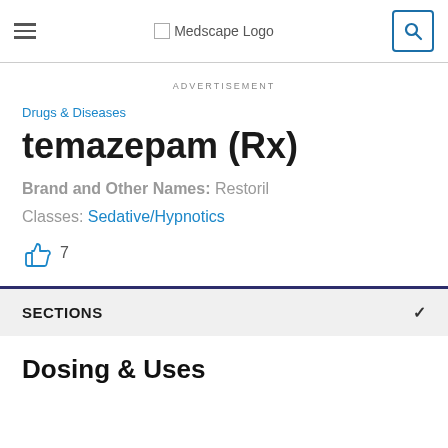Medscape Logo
ADVERTISEMENT
Drugs & Diseases
temazepam (Rx)
Brand and Other Names: Restoril
Classes: Sedative/Hypnotics
SECTIONS
Dosing & Uses